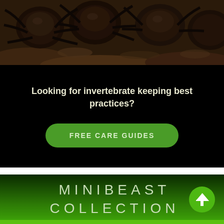[Figure (photo): Close-up photo of dark brown tarantulas or similar invertebrates clustered together on earthy substrate]
Looking for invertebrate keeping best practices?
FREE CARE GUIDES
MINIBEAST COLLECTION